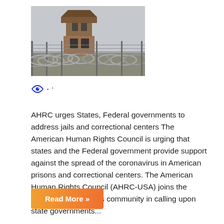[Figure (photo): Photograph of a prison guard tower surrounded by barbed wire fencing against a grey sky]
[Figure (logo): Eye icon (blue) followed by two small dots, representing a social media or publication logo/icon row]
AHRC urges States, Federal governments to address jails and correctional centers The American Human Rights Council is urging that states and the Federal government provide support against the spread of the coronavirus in American prisons and correctional centers. The American Human Rights Council (AHRC-USA) joins the nation's human rights community in calling upon state governments...
Read More »